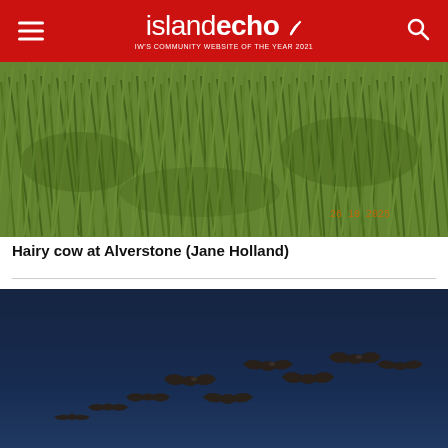islandecho — IW's COMMUNITY WEBSITE OF THE YEAR 2021
[Figure (photo): Close-up photograph of tall green grass in a field, with a date stamp '26 10 2025' visible in the bottom right corner. The grass appears dense and windswept.]
Hairy cow at Alverstone (Jane Holland)
[Figure (photo): Photograph of a flock of geese (approximately 9 birds) flying in loose formation against a deep blue evening sky. The birds are silhouetted and spread across the frame diagonally from lower left to upper right.]